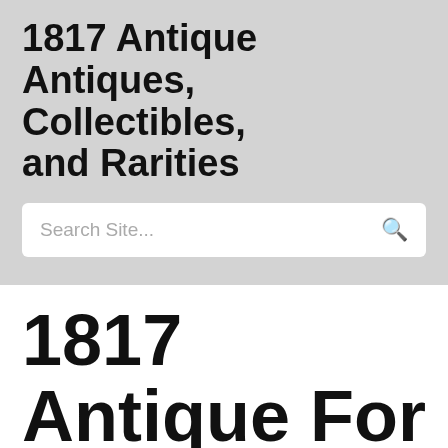1817 Antique Antiques, Collectibles, and Rarities
[Figure (screenshot): Search bar with placeholder text 'Search Site...' and a search icon on the right]
1817 Antique For